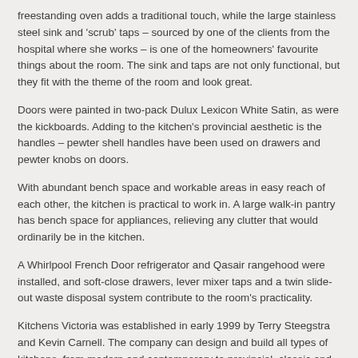freestanding oven adds a traditional touch, while the large stainless steel sink and 'scrub' taps – sourced by one of the clients from the hospital where she works – is one of the homeowners' favourite things about the room. The sink and taps are not only functional, but they fit with the theme of the room and look great.
Doors were painted in two-pack Dulux Lexicon White Satin, as were the kickboards. Adding to the kitchen's provincial aesthetic is the handles – pewter shell handles have been used on drawers and pewter knobs on doors.
With abundant bench space and workable areas in easy reach of each other, the kitchen is practical to work in. A large walk-in pantry has bench space for appliances, relieving any clutter that would ordinarily be in the kitchen.
A Whirlpool French Door refrigerator and Qasair rangehood were installed, and soft-close drawers, lever mixer taps and a twin slide-out waste disposal system contribute to the room's practicality.
Kitchens Victoria was established in early 1999 by Terry Steegstra and Kevin Carnell. The company can design and build all types of kitchens, from modern and contemporary to provincial, classic and everything in between. Kitchens Victoria works with clients in metropolitan Melbourne and in some regional areas. Building approximately 180 kitchens per year, Kitchens Victoria also undertakes kitchen and bathroom renovations.